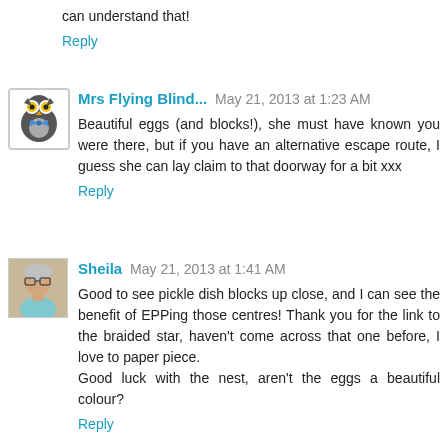can understand that!
Reply
Mrs Flying Blind... May 21, 2013 at 1:23 AM
Beautiful eggs (and blocks!), she must have known you were there, but if you have an alternative escape route, I guess she can lay claim to that doorway for a bit xxx
Reply
Sheila May 21, 2013 at 1:41 AM
Good to see pickle dish blocks up close, and I can see the benefit of EPPing those centres! Thank you for the link to the braided star, haven't come across that one before, I love to paper piece.
Good luck with the nest, aren't the eggs a beautiful colour?
Reply